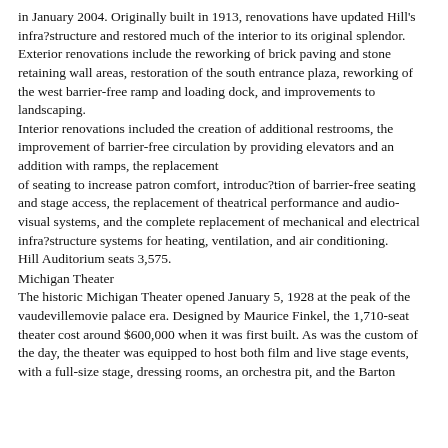in January 2004. Originally built in 1913, renovations have updated Hill's infra?structure and restored much of the interior to its original splendor. Exterior renovations include the reworking of brick paving and stone retaining wall areas, restoration of the south entrance plaza, reworking of the west barrier-free ramp and loading dock, and improvements to landscaping.
Interior renovations included the creation of additional restrooms, the improvement of barrier-free circulation by providing elevators and an addition with ramps, the replacement of seating to increase patron comfort, introduc?tion of barrier-free seating and stage access, the replacement of theatrical performance and audio-visual systems, and the complete replacement of mechanical and electrical infra?structure systems for heating, ventilation, and air conditioning.
Hill Auditorium seats 3,575.
Michigan Theater
The historic Michigan Theater opened January 5, 1928 at the peak of the vaudevillemovie palace era. Designed by Maurice Finkel, the 1,710-seat theater cost around $600,000 when it was first built. As was the custom of the day, the theater was equipped to host both film and live stage events, with a full-size stage, dressing rooms, an orchestra pit, and the Barton